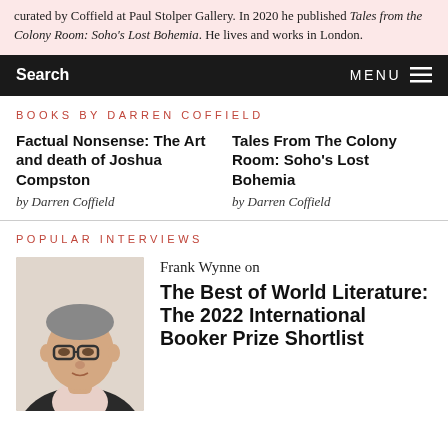curated by Coffield at Paul Stolper Gallery. In 2020 he published Tales from the Colony Room: Soho's Lost Bohemia. He lives and works in London.
Search   MENU
BOOKS BY DARREN COFFIELD
Factual Nonsense: The Art and death of Joshua Compston
by Darren Coffield
Tales From The Colony Room: Soho's Lost Bohemia
by Darren Coffield
POPULAR INTERVIEWS
[Figure (photo): Headshot of Frank Wynne, a middle-aged man with glasses wearing a dark jacket over a light pink shirt, photographed against a white background]
Frank Wynne on The Best of World Literature: The 2022 International Booker Prize Shortlist